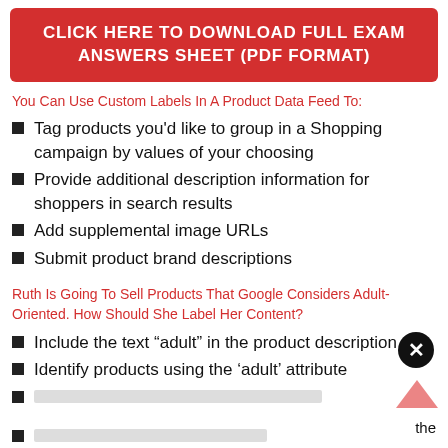CLICK HERE TO DOWNLOAD FULL EXAM ANSWERS SHEET (PDF FORMAT)
You Can Use Custom Labels In A Product Data Feed To:
Tag products you'd like to group in a Shopping campaign by values of your choosing
Provide additional description information for shoppers in search results
Add supplemental image URLs
Submit product brand descriptions
Ruth Is Going To Sell Products That Google Considers Adult-Oriented. How Should She Label Her Content?
Include the text “adult” in the product description
Identify products using the ‘adult’ attribute
[truncated]
[truncated] the
data feed